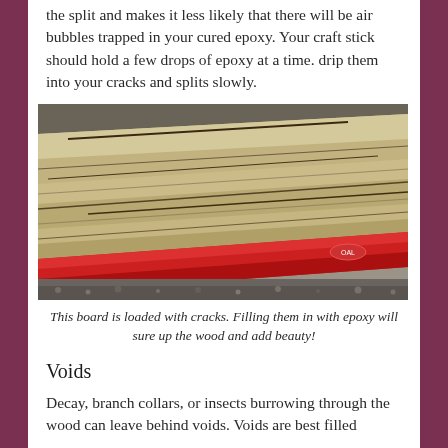the split and makes it less likely that there will be air bubbles trapped in your cured epoxy. Your craft stick should hold a few drops of epoxy at a time. drip them into your cracks and splits slowly.
[Figure (photo): A wooden board with visible cracks and splits, placed on a red tool (spirit level/straightedge) resting on a gravelly surface. The wood shows natural grain and multiple linear cracks running along its length.]
This board is loaded with cracks. Filling them in with epoxy will sure up the wood and add beauty!
Voids
Decay, branch collars, or insects burrowing through the wood can leave behind voids. Voids are best filled